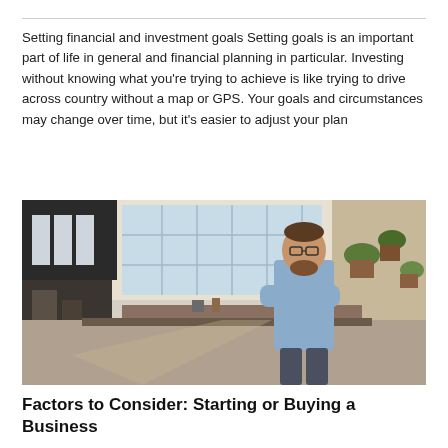Setting financial and investment goals Setting goals is an important part of life in general and financial planning in particular. Investing without knowing what you're trying to achieve is like trying to drive across country without a map or GPS. Your goals and circumstances may change over time, but it's easier to adjust your plan
[Figure (photo): A man with a beard and glasses standing with arms crossed in a bright industrial workshop or studio space with large windows, workbenches, and potted plants.]
Factors to Consider: Starting or Buying a Business